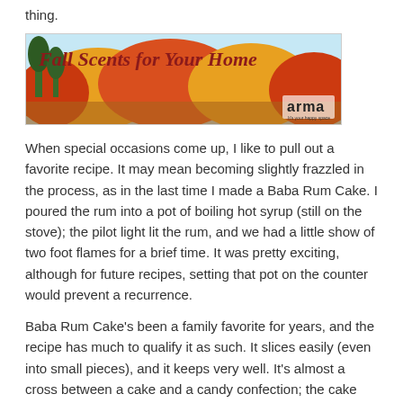thing.
[Figure (illustration): Banner advertisement for 'Fall Scents for Your Home' featuring autumn trees with orange and red foliage against a blue sky, with the 'arma' logo in the bottom right corner.]
When special occasions come up, I like to pull out a favorite recipe. It may mean becoming slightly frazzled in the process, as in the last time I made a Baba Rum Cake. I poured the rum into a pot of boiling hot syrup (still on the stove); the pilot light lit the rum, and we had a little show of two foot flames for a brief time. It was pretty exciting, although for future recipes, setting that pot on the counter would prevent a recurrence.
Baba Rum Cake's been a family favorite for years, and the recipe has much to qualify it as such. It slices easily (even into small pieces), and it keeps very well. It's almost a cross between a cake and a candy confection; the cake itself doesn't have much sugar, but it gets